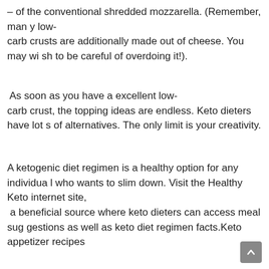– of the conventional shredded mozzarella. (Remember, many low-carb crusts are additionally made out of cheese. You may wish to be careful of overdoing it!).
As soon as you have a excellent low-carb crust, the topping ideas are endless. Keto dieters have lots of alternatives. The only limit is your creativity.
A ketogenic diet regimen is a healthy option for any individual who wants to slim down. Visit the Healthy Keto internet site, a beneficial source where keto dieters can access meal suggestions as well as keto diet regimen facts.Keto appetizer recipes